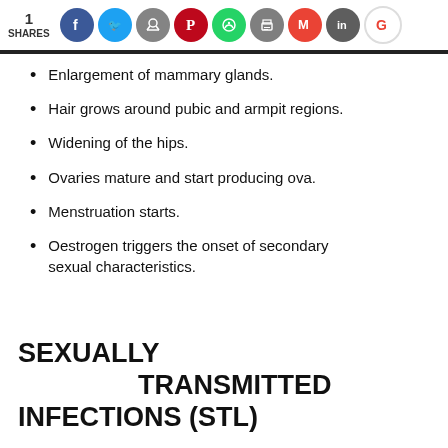1 SHARES [social share icons: Facebook, Twitter, Reddit, Pinterest, WhatsApp, Print, Gmail, LinkedIn, Google]
Enlargement of mammary glands.
Hair grows around pubic and armpit regions.
Widening of the hips.
Ovaries mature and start producing ova.
Menstruation starts.
Oestrogen triggers the onset of secondary sexual characteristics.
SEXUALLY TRANSMITTED INFECTIONS (STL)